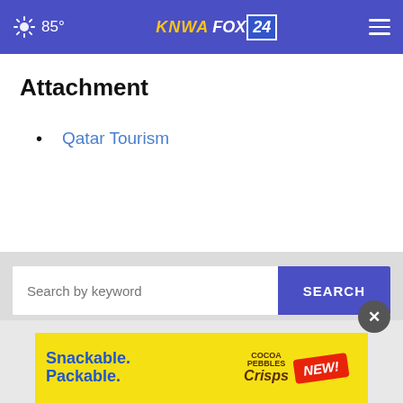85° KNWA FOX 24
Attachment
Qatar Tourism
[Figure (screenshot): Search bar with 'Search by keyword' placeholder text and a blue SEARCH button]
[Figure (infographic): Advertisement banner: 'Snackable. Packable.' with Cocoa Pebbles Crisps product and NEW! badge]